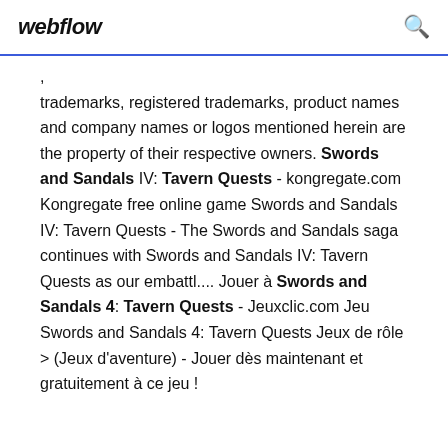webflow
trademarks, registered trademarks, product names and company names or logos mentioned herein are the property of their respective owners. Swords and Sandals IV: Tavern Quests - kongregate.com Kongregate free online game Swords and Sandals IV: Tavern Quests - The Swords and Sandals saga continues with Swords and Sandals IV: Tavern Quests as our embattl.... Jouer à Swords and Sandals 4: Tavern Quests - Jeuxclic.com Jeu Swords and Sandals 4: Tavern Quests Jeux de rôle > (Jeux d'aventure) - Jouer dès maintenant et gratuitement à ce jeu !